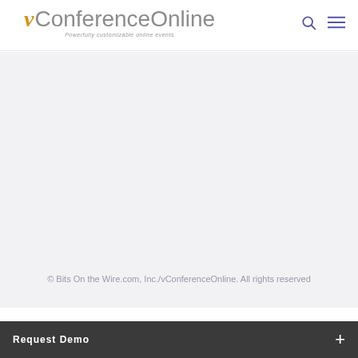[Figure (logo): vConferenceOnline logo with orange italic 'v' and gray 'ConferenceOnline' text, tagline 'Powerfully customizable online events']
© Bits On the Wire.com, Inc./vConferenceOnline. All rights reserved
Request Demo